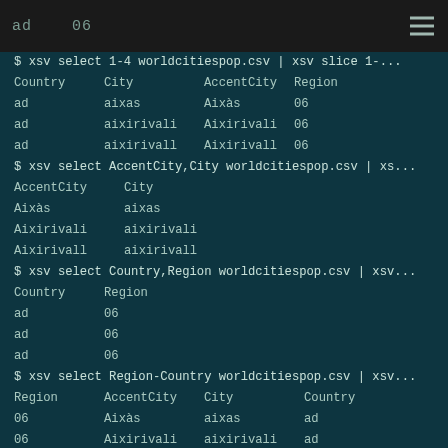ad    06
$ xsv select 1-4 worldcitiespop.csv | xsv slice 1-...
| Country | City | AccentCity | Region |
| --- | --- | --- | --- |
| ad | aixas | Aixàs | 06 |
| ad | aixirivali | Aixirivali | 06 |
| ad | aixirivall | Aixirivall | 06 |
$ xsv select AccentCity,City worldcitiespop.csv | xs...
| AccentCity | City |
| --- | --- |
| Aixàs | aixas |
| Aixirivali | aixirivali |
| Aixirivall | aixirivall |
$ xsv select Country,Region worldcitiespop.csv | xsv...
| Country | Region |
| --- | --- |
| ad | 06 |
| ad | 06 |
| ad | 06 |
$ xsv select Region-Country worldcitiespop.csv | xsv...
| Region | AccentCity | City | Country |
| --- | --- | --- | --- |
| 06 | Aixàs | aixas | ad |
| 06 | Aixirivali | aixirivali | ad |
| 06 | Aixirivall | aixirivall | ad |